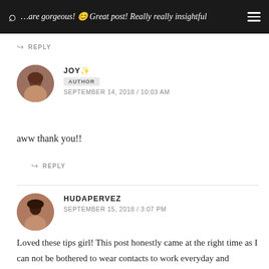…are gorgeous! 😊 Great post! Really really insightful
↩ REPLY
JOY✨
AUTHOR
SEPTEMBER 14, 2018 / 10:03 AM
aww thank you!!
↩ REPLY
HUDAPERVEZ
SEPTEMBER 15, 2018 / 3:07 PM
Loved these tips girl! This post honestly came at the right time as I can not be bothered to wear contacts to work everyday and everytime I wear glasses my makeup is always smudging on the nose area! I'm